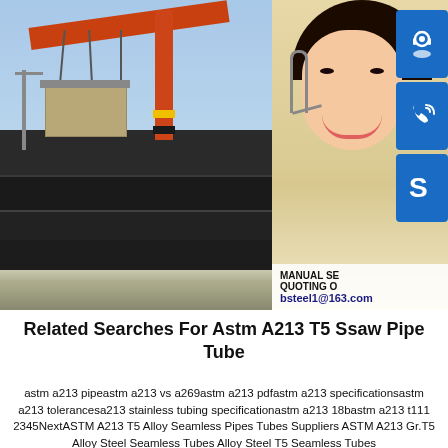[Figure (photo): Industrial steel plates stacked outdoors with a red overhead crane visible above, blue sky background. On the right side, a smiling woman wearing a headset with blue service icon buttons (customer service, phone/Skype). Overlay text includes 'MANUAL SE...', 'QUOTING O...', 'bsteel1@163.com'.]
Related Searches For Astm A213 T5 Ssaw Pipe Tube
astm a213 pipeastm a213 vs a269astm a213 pdfastm a213 specificationsastm a213 tolerancesa213 stainless tubing specificationastm a213 18bastm a213 t1112345NextASTM A213 T5 Alloy Seamless Pipes Tubes Suppliers ASTM A213 Gr.T5 Alloy Steel Seamless Tubes Alloy Steel T5 Seamless Tubes